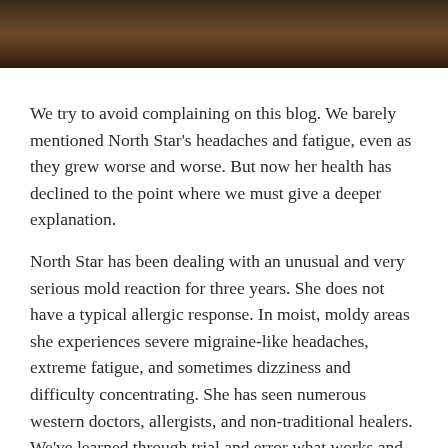[Figure (photo): Dark textured wood or bark surface, appearing as a horizontal strip at the top of the page]
We try to avoid complaining on this blog. We barely mentioned North Star's headaches and fatigue, even as they grew worse and worse. But now her health has declined to the point where we must give a deeper explanation.
North Star has been dealing with an unusual and very serious mold reaction for three years. She does not have a typical allergic response. In moist, moldy areas she experiences severe migraine-like headaches, extreme fatigue, and sometimes dizziness and difficulty concentrating. She has seen numerous western doctors, allergists, and non-traditional healers. We've learned through trial and error what works and what doesn't. She takes several medications year round to combat her mold allergy and its symptoms. We were nervous about